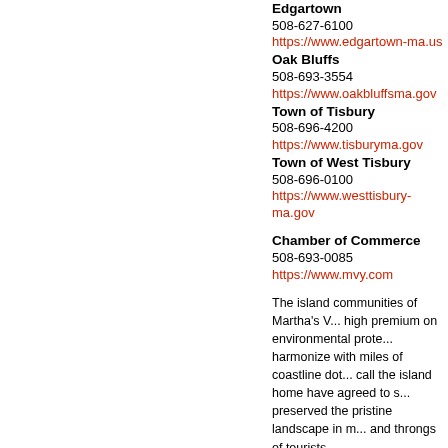Edgartown
508-627-6100
https://www.edgartown-ma.us
Oak Bluffs
508-693-3554
https://www.oakbluffsma.gov
Town of Tisbury
508-696-4200
https://www.tisburyma.gov
Town of West Tisbury
508-696-0100
https://www.westtisbury-ma.gov
Chamber of Commerce
508-693-0085
https://www.mvy.com
The island communities of Martha's V... high premium on environmental prote... harmonize with miles of coastline dot... call the island home have agreed to s... preserved the pristine landscape in m... and throngs of tourists.
Martha's Vineyard is a place of strong... busy harbors and elegant resort hote... and nature preserves. The island attr... lifestyle; but it also draws crowds of v... incomparable ambiance. The cultural... providing a mix of seasonal concerts,... attractions include the agricultural fai... displays. Wonderful shops filled with... interspersed with quaint historical mu...
Each island town boasts a distinctive... century dollhouse village of Oak Bluff... Menemsha. Edgartown on the eastern... One of the most remarkable example...